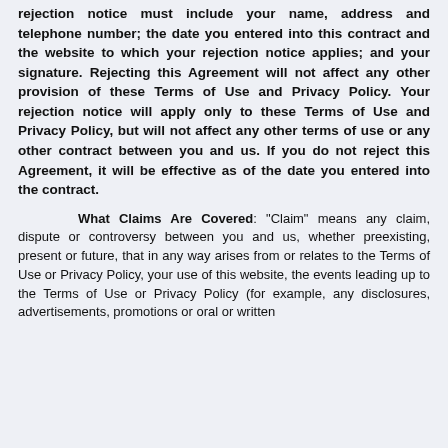rejection notice must include your name, address and telephone number; the date you entered into this contract and the website to which your rejection notice applies; and your signature. Rejecting this Agreement will not affect any other provision of these Terms of Use and Privacy Policy. Your rejection notice will apply only to these Terms of Use and Privacy Policy, but will not affect any other terms of use or any other contract between you and us. If you do not reject this Agreement, it will be effective as of the date you entered into the contract.
What Claims Are Covered: “Claim” means any claim, dispute or controversy between you and us, whether preexisting, present or future, that in any way arises from or relates to the Terms of Use or Privacy Policy, your use of this website, the events leading up to the Terms of Use or Privacy Policy (for example, any disclosures, advertisements, promotions or oral or written